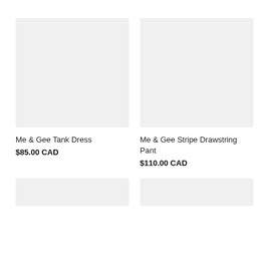[Figure (photo): Product image placeholder for Me & Gee Tank Dress, light gray rectangle]
[Figure (photo): Product image placeholder for Me & Gee Stripe Drawstring Pant, light gray rectangle]
Me & Gee Tank Dress
$85.00 CAD
Me & Gee Stripe Drawstring Pant
$110.00 CAD
[Figure (photo): Product image placeholder, partial, light gray rectangle at bottom]
[Figure (photo): Product image placeholder, partial, light gray rectangle at bottom]